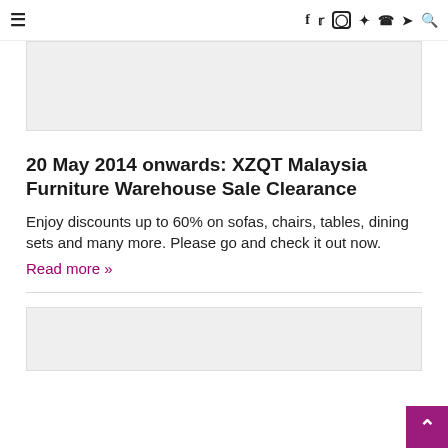≡  f  twitter  instagram  pinterest  whatsapp  telegram  search
[Figure (photo): Grey image placeholder area at top of page]
20 May 2014 onwards: XZQT Malaysia Furniture Warehouse Sale Clearance
Enjoy discounts up to 60% on sofas, chairs, tables, dining sets and many more. Please go and check it out now.
Read more »
[Figure (photo): Grey image placeholder area at bottom of page]